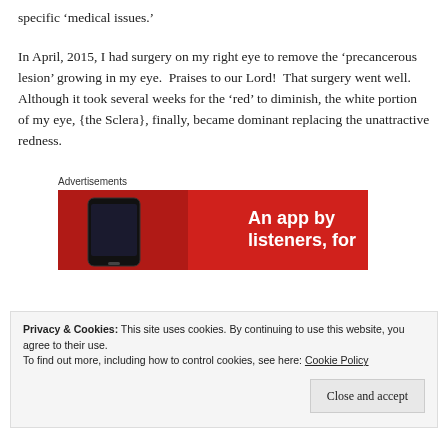specific ‘medical issues.’
In April, 2015, I had surgery on my right eye to remove the ‘precancerous lesion’ growing in my eye.  Praises to our Lord!  That surgery went well.  Although it took several weeks for the ‘red’ to diminish, the white portion of my eye, {the Sclera}, finally, became dominant replacing the unattractive redness.
Advertisements
[Figure (other): Advertisement banner with red background showing a smartphone on the left and white bold text reading 'An app by listeners, for']
Privacy & Cookies: This site uses cookies. By continuing to use this website, you agree to their use.
To find out more, including how to control cookies, see here: Cookie Policy
Close and accept